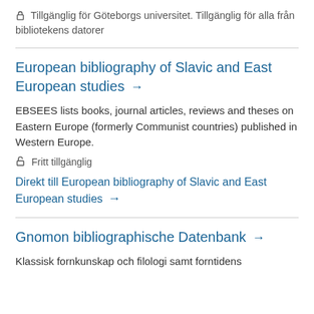🔒 Tillgänglig för Göteborgs universitet. Tillgänglig för alla från bibliotekens datorer
European bibliography of Slavic and East European studies →
EBSEES lists books, journal articles, reviews and theses on Eastern Europe (formerly Communist countries) published in Western Europe.
🔓 Fritt tillgänglig
Direkt till European bibliography of Slavic and East European studies →
Gnomon bibliographische Datenbank →
Klassisk fornkunskap och filologi samt forntidens